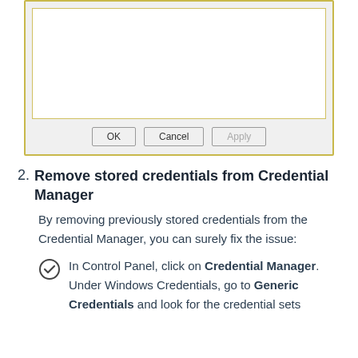[Figure (screenshot): A Windows dialog box showing OK, Cancel, and Apply buttons at the bottom, with a white content area and a yellow-bordered frame.]
2. Remove stored credentials from Credential Manager
By removing previously stored credentials from the Credential Manager, you can surely fix the issue:
In Control Panel, click on Credential Manager. Under Windows Credentials, go to Generic Credentials and look for the credential sets